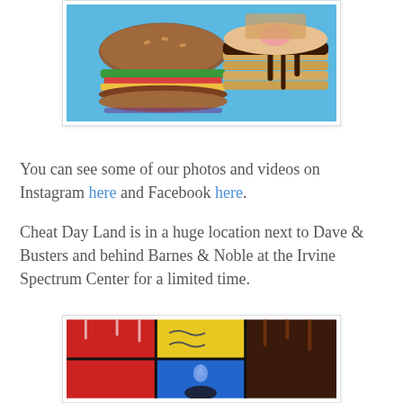[Figure (photo): Decorative food-themed sugar cookies shaped like a cheeseburger, pancake stack with syrup, and other food items against a blue background]
You can see some of our photos and videos on Instagram here and Facebook here.
Cheat Day Land is in a huge location next to Dave & Busters and behind Barnes & Noble at the Irvine Spectrum Center for a limited time.
[Figure (photo): Colorful pop-art style mural with food illustrations in red, yellow, blue, and dark brown panels with dripping elements and a person visible at the bottom]